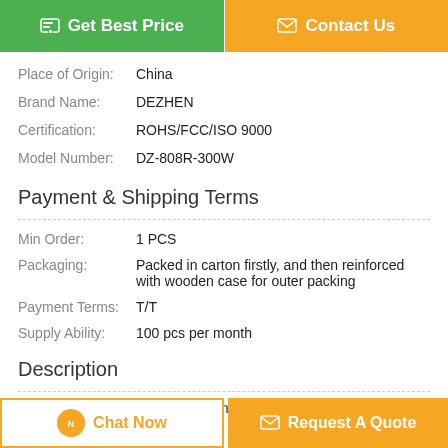[Figure (other): Two action buttons: 'Get Best Price' (green) and 'Contact Us' (orange)]
Place of Origin: China
Brand Name: DEZHEN
Certification: ROHS/FCC/ISO 9000
Model Number: DZ-808R-300W
Payment & Shipping Terms
Min Order: 1 PCS
Packaging: Packed in carton firstly, and then reinforced with wooden case for outer packing
Payment Terms: T/T
Supply Ability: 100 pcs per month
Description
Waterproof Outdoor Signal Jammer
[Figure (other): Two bottom buttons: 'Chat Now' (white/orange border) and 'Request A Quote' (orange)]